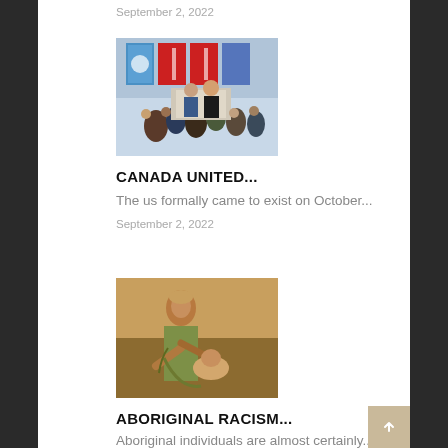September 2, 2022
[Figure (photo): People at a podium with Canadian and UN flags in background]
CANADA UNITED...
The us formally came to exist on October...
September 2, 2022
[Figure (photo): Historical painting depicting Aboriginal figures]
ABORIGINAL RACISM...
Aboriginal individuals are almost certainly...
September 2, 2022